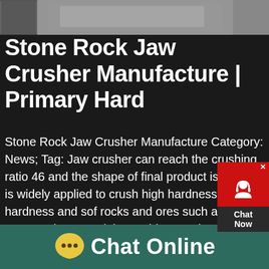[Figure (photo): Partial view of a stone rock jaw crusher machine, grayscale/blurred image at top of page]
Stone Rock Jaw Crusher Manufacture | Primary Hard
Stone Rock Jaw Crusher Manufacture Category: News; Tag: Jaw crusher can reach the crushing ratio 46 and the shape of final product is even It is widely applied to crush high hardness, mid hardness and soft rocks and ores such as slag, construction materials, marble, etc The pressure resistance strength is under 200Mpa, that is, suitable for primary crush JawRock Crushergermany We are a professional mining machinery manufacturer, the main equipment including: jaw crusher, cone crusher and other
[Figure (other): Red chat now widget with headset icon and close button on right side]
Chat Online